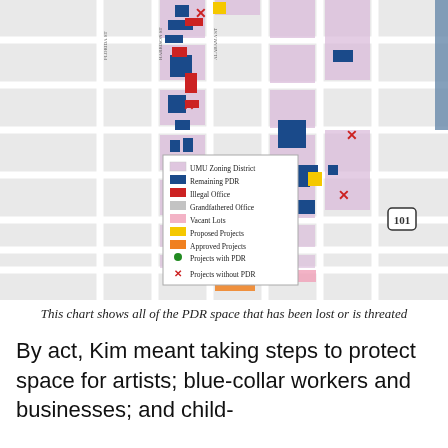[Figure (map): Urban map showing PDR (Production, Distribution, Repair) zoning in what appears to be a San Francisco neighborhood. The map displays various colored blocks indicating: UMU Zoning District (light pink/lavender), Remaining PDR (dark blue), Illegal Office (red), Grandfathered Office (gray/hatched), Vacant Lots (pink), Proposed Projects (yellow), Approved Projects (orange), Projects with PDR (green dot), Projects without PDR (red X). Highway 101 is visible on the right side.]
This chart shows all of the PDR space that has been lost or is threated
By act, Kim meant taking steps to protect space for artists; blue-collar workers and businesses; and child-